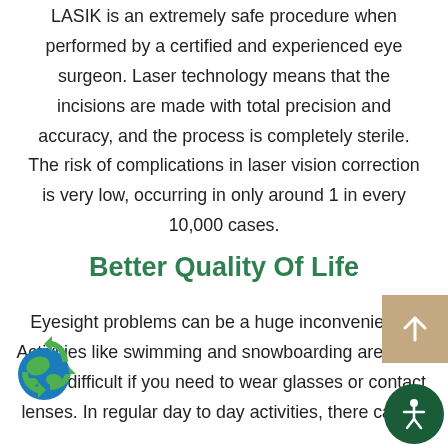LASIK is an extremely safe procedure when performed by a certified and experienced eye surgeon. Laser technology means that the incisions are made with total precision and accuracy, and the process is completely sterile. The risk of complications in laser vision correction is very low, occurring in only around 1 in every 10,000 cases.
Better Quality Of Life
Eyesight problems can be a huge inconvenience. Activities like swimming and snowboarding are much more difficult if you need to wear glasses or contact lenses. In regular day to day activities, there can be